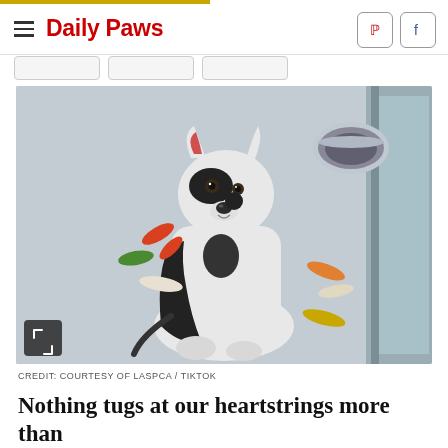Daily Paws
[Figure (photo): A black and white pit bull dog sitting in what appears to be a shelter kennel, with a metal food bowl visible in the upper right corner. Colorful confetti-like streaks (red, green, white, orange, yellow) are overlaid on the image as a decorative effect. An expand/fullscreen icon is visible in the lower left corner of the photo.]
CREDIT: COURTESY OF LASPCA / TIKTOK
Nothing tugs at our heartstrings more than